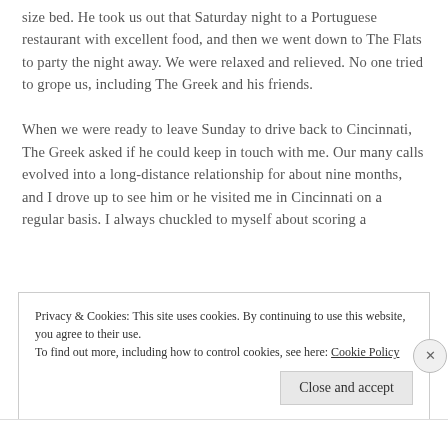size bed. He took us out that Saturday night to a Portuguese restaurant with excellent food, and then we went down to The Flats to party the night away. We were relaxed and relieved. No one tried to grope us, including The Greek and his friends.

When we were ready to leave Sunday to drive back to Cincinnati, The Greek asked if he could keep in touch with me. Our many calls evolved into a long-distance relationship for about nine months, and I drove up to see him or he visited me in Cincinnati on a regular basis. I always chuckled to myself about scoring a
Privacy & Cookies: This site uses cookies. By continuing to use this website, you agree to their use.
To find out more, including how to control cookies, see here: Cookie Policy